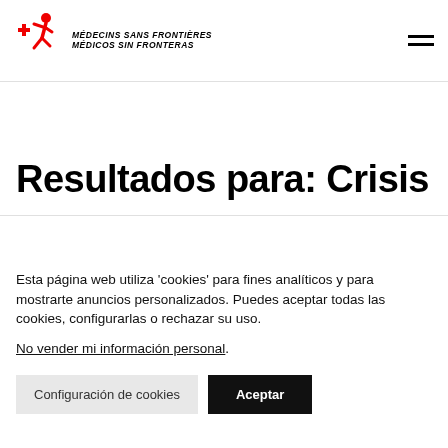MEDECINS SANS FRONTIERES MEDICOS SIN FRONTERAS
Resultados para: Crisis
Esta página web utiliza 'cookies' para fines analíticos y para mostrarte anuncios personalizados. Puedes aceptar todas las cookies, configurarlas o rechazar su uso.
No vender mi información personal.
Configuración de cookies | Aceptar